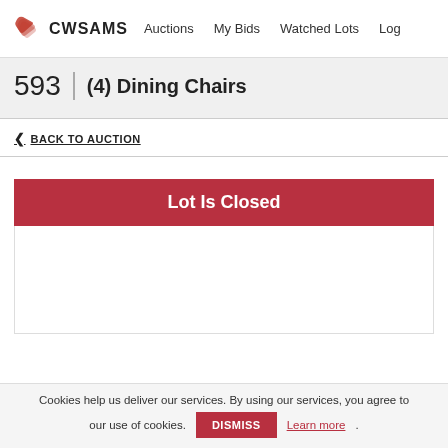CWSAMS  Auctions  My Bids  Watched Lots  Log
593  (4) Dining Chairs
< BACK TO AUCTION
Lot Is Closed
Cookies help us deliver our services. By using our services, you agree to our use of cookies.  DISMISS  Learn more.